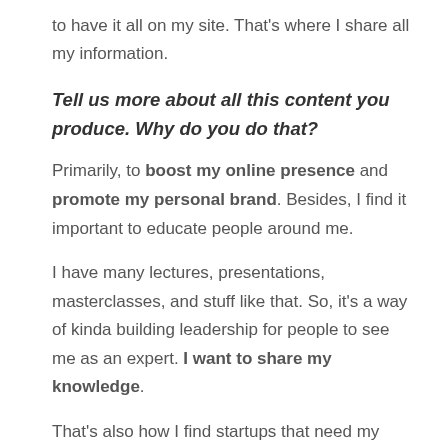to have it all on my site. That's where I share all my information.
Tell us more about all this content you produce. Why do you do that?
Primarily, to boost my online presence and promote my personal brand. Besides, I find it important to educate people around me.
I have many lectures, presentations, masterclasses, and stuff like that. So, it's a way of kinda building leadership for people to see me as an expert. I want to share my knowledge.
That's also how I find startups that need my